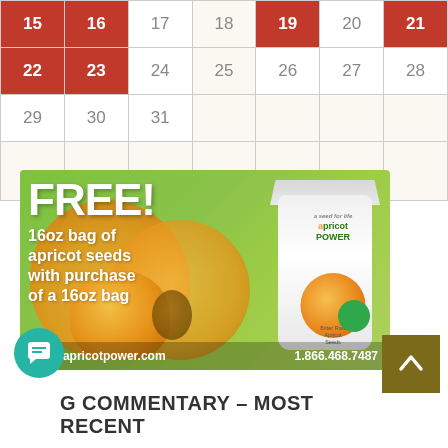| Sun | Mon | Tue | Wed | Thu | Fri | Sat |
| --- | --- | --- | --- | --- | --- | --- |
| 15 | 16 | 17 | 18 | 19 | 20 | 21 |
| 22 | 23 | 24 | 25 | 26 | 27 | 28 |
| 29 | 30 | 31 |  |  |  |  |
|  |  |  |  |  |  |  |
[Figure (illustration): Apricot Power advertisement: FREE! 16oz bag of apricot seeds with purchase of a 16oz bag. Shows product bag and apricots. Website: www.apricotpower.com, Phone: 1.866.468.7487]
[Figure (other): Teal circular chat/messaging icon button]
[Figure (other): Dark olive/brown scroll-to-top button with upward chevron]
G COMMENTARY – MOST RECENT